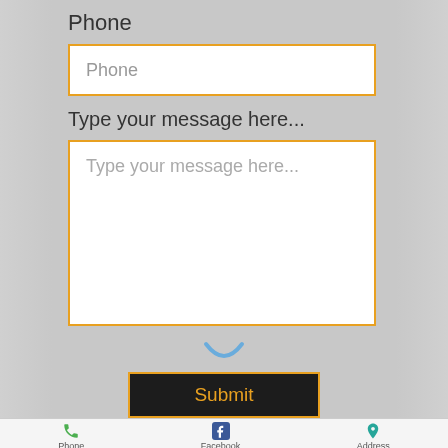Phone
[Figure (screenshot): Phone input field placeholder text 'Phone' with orange border]
Type your message here...
[Figure (screenshot): Message textarea with placeholder 'Type your message here...' and orange border]
[Figure (illustration): Blue smile/loading arc icon]
[Figure (screenshot): Dark Submit button with orange border and orange text]
[Figure (infographic): Bottom navigation bar with Phone (green phone icon), Facebook (blue F icon), Address (teal pin icon)]